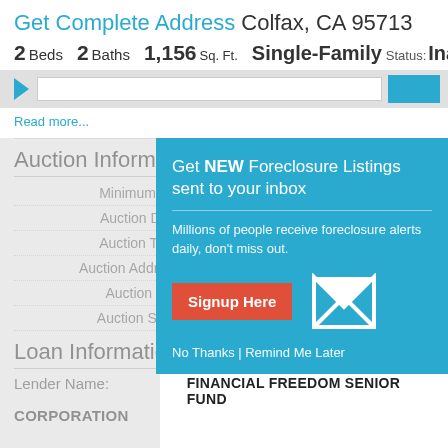Get Complete Address Colfax, CA 95713
2 Beds  2 Baths  1,156 Sq. Ft.  Single-Family  Status: Inacti
Read more...
Auction Information
| Field | Value |
| --- | --- |
| Minimum Bid: |  |
| Auction Date: |  |
| Auction Time: |  |
| Auction Address: |  |
| Auction City: |  |
| Auction State: |  |
[Figure (screenshot): Popup overlay: Get NEW Foreclosure Listings sent to your inbox. Millions of people receive foreclosure alerts daily, don't miss out. Signup Here button. No Thanks | Remind Me Later links.]
Loan Information
Lender Name:          FINANCIAL FREEDOM SENIOR FUND
CORPORATION